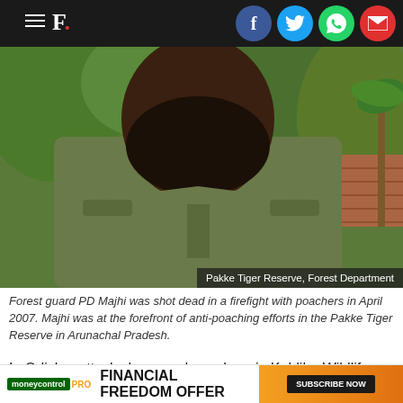F. [navigation bar with social icons]
[Figure (photo): Photograph of a forest guard in olive uniform with beard, standing outdoors with trees and brick wall in background. Caption overlay reads: Pakke Tiger Reserve, Forest Department]
Forest guard PD Majhi was shot dead in a firefight with poachers in April 2007. Majhi was at the forefront of anti-poaching efforts in the Pakke Tiger Reserve in Arunachal Pradesh.
In Odisha, attacks by armed poachers in Kuldiha Wildlife Sanctuary on 2 May, 2018, prompted divisional forest officer Biswaraj Panda to seek police protection for his personnel. This wasn't the first time, Panda told IndiaSpend: "Over the past month, nine forest staff have been injured in two separate incidents... [the] Similipa..."